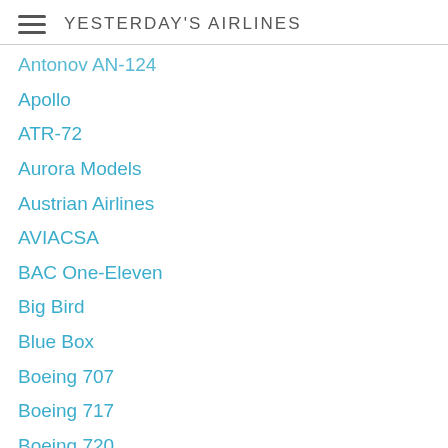YESTERDAY'S AIRLINES
Antonov AN-124
Apollo
ATR-72
Aurora Models
Austrian Airlines
AVIACSA
BAC One-Eleven
Big Bird
Blue Box
Boeing 707
Boeing 717
Boeing 720
Boeing 727
Boeing 737
Boeing 747
Boeing 757
Boeing 767
Boeing 777